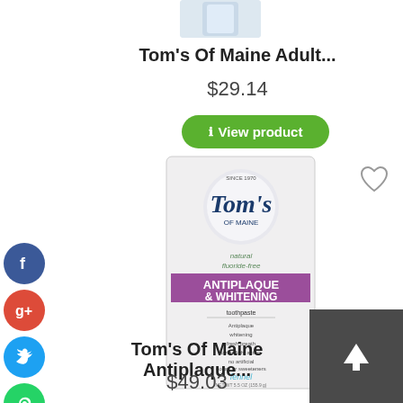[Figure (photo): Tom's of Maine product image (top, partial view)]
Tom's Of Maine Adult...
$29.14
i View product
[Figure (photo): Tom's Of Maine Antiplaque & Whitening Natural Fluoride-Free toothpaste in Fennel flavor product box]
Tom's Of Maine Antiplaque...
$49.03